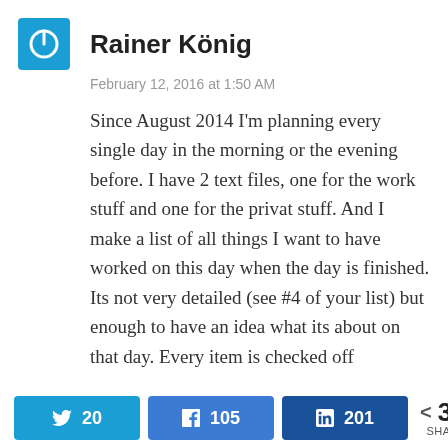Rainer König
February 12, 2016 at 1:50 AM
Since August 2014 I'm planning every single day in the morning or the evening before. I have 2 text files, one for the work stuff and one for the privat stuff. And I make a list of all things I want to have worked on this day when the day is finished. Its not very detailed (see #4 of your list) but enough to have an idea what its about on that day. Every item is checked off
20  105  201  326 SHARES